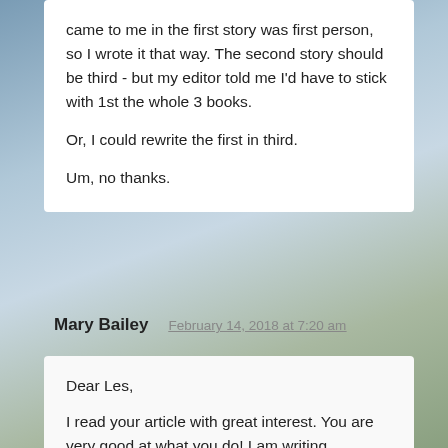came to me in the first story was first person, so I wrote it that way. The second story should be third - but my editor told me I'd have to stick with 1st the whole 3 books.

Or, I could rewrite the first in third.

Um, no thanks.
Mary Bailey
February 14, 2018 at 7:20 am
Dear Les,

I read your article with great interest. You are very good at what you do! I am writing